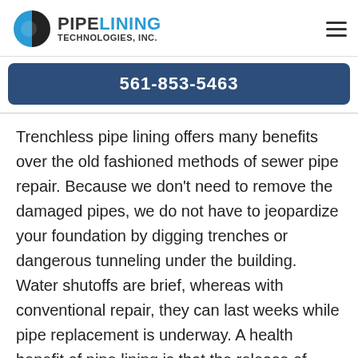PIPE LINING TECHNOLOGIES, INC.
561-853-5463
Trenchless pipe lining offers many benefits over the old fashioned methods of sewer pipe repair. Because we don't need to remove the damaged pipes, we do not have to jeopardize your foundation by digging trenches or dangerous tunneling under the building. Water shutoffs are brief, whereas with conventional repair, they can last weeks while pipe replacement is underway. A health benefit of pipe lining is that the release of